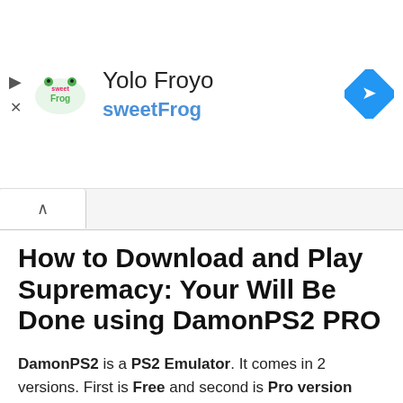[Figure (screenshot): Ad banner for sweetFrog Yolo Froyo with logo, navigation arrow icon, play and close icons on left]
How to Download and Play Supremacy: Your Will Be Done using DamonPS2 PRO
DamonPS2 is a PS2 Emulator. It comes in 2 versions. First is Free and second is Pro version (Paid). The Free version have almost everything includes ads. The PRO version dont have any Ads, Graphics are HQ and Smooth.
[damonps2]Supremacy: Your Will Be Done[/damonps2] Follow these steps to Play Supremacy: Your Will Be Done with DamonPS2 Pro